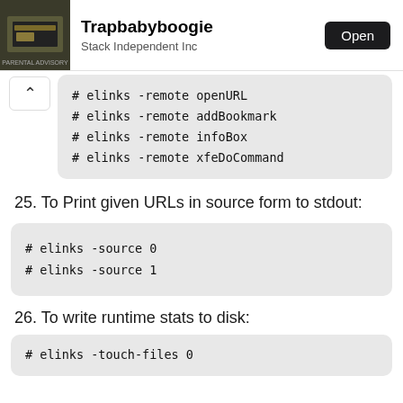[Figure (screenshot): App store banner showing Trapbabyboogie app by Stack Independent Inc with an Open button and album art icon]
# elinks -remote openURL
# elinks -remote addBookmark
# elinks -remote infoBox
# elinks -remote xfeDoCommand
25. To Print given URLs in source form to stdout:
# elinks -source 0
# elinks -source 1
26. To write runtime stats to disk:
# elinks -touch-files 0